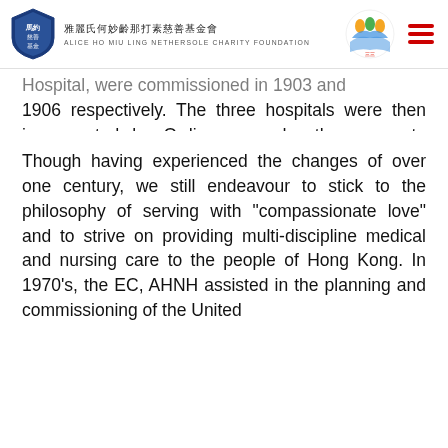Alice Ho Miu Ling Nethersole Charity Foundation
Hospital, were commissioned in 1903 and 1906 respectively. The three hospitals were then incorporated by Ordinance under the corporate name of The Executive Committee of The Alice Ho Miu Ling Nethersole Hospital (“EC, AHNH”) in 1954.
Though having experienced the changes of over one century, we still endeavour to stick to the philosophy of serving with “compassionate love” and to strive on providing multi-discipline medical and nursing care to the people of Hong Kong. In 1970’s, the EC, AHNH assisted in the planning and commissioning of the United